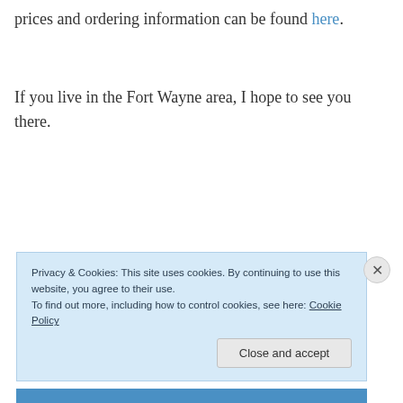prices and ordering information can be found here.
If you live in the Fort Wayne area, I hope to see you there.
Privacy & Cookies: This site uses cookies. By continuing to use this website, you agree to their use.
To find out more, including how to control cookies, see here: Cookie Policy
Close and accept